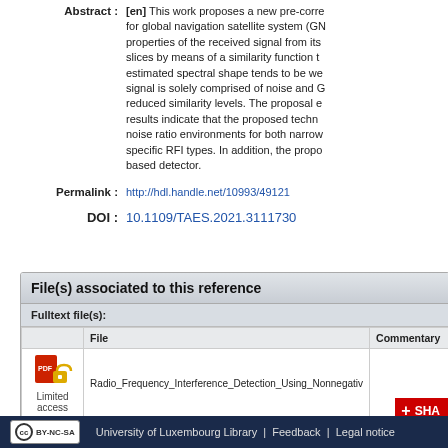Abstract : [en] This work proposes a new pre-correlation for global navigation satellite system (GNSS) properties of the received signal from its slices by means of a similarity function the estimated spectral shape tends to be well signal is solely comprised of noise and GNSS reduced similarity levels. The proposal experimental results indicate that the proposed technique noise ratio environments for both narrowband specific RFI types. In addition, the proposal based detector.
Permalink : http://hdl.handle.net/10993/49121
DOI : 10.1109/TAES.2021.3111730
File(s) associated to this reference
|  | File | Commentary |
| --- | --- | --- |
| Limited access | Radio_Frequency_Interference_Detection_Using_Nonnegativ |  |
SHARE
All documents in ORBilu are protected by a user license.
University of Luxembourg Library | Feedback | Legal notice